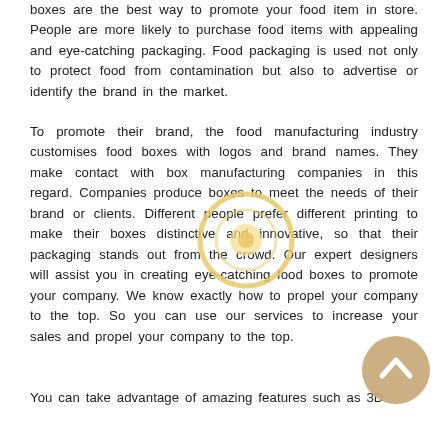boxes are the best way to promote your food item in store. People are more likely to purchase food items with appealing and eye-catching packaging. Food packaging is used not only to protect food from contamination but also to advertise or identify the brand in the market.
To promote their brand, the food manufacturing industry customises food boxes with logos and brand names. They make contact with box manufacturing companies in this regard. Companies produce boxes to meet the needs of their brand or clients. Different people prefer different printing to make their boxes distinctive and innovative, so that their packaging stands out from the crowd. Our expert designers will assist you in creating eye-catching food boxes to promote your company. We know exactly how to propel your company to the top. So you can use our services to increase your sales and propel your company to the top.
[Figure (illustration): Golden circular icon with a smaller inner circle, resembling a decorative ring or target symbol]
[Figure (illustration): Orange/tan scroll-to-top button with an upward arrow chevron, positioned in lower right]
You can take advantage of amazing features such as 3D...